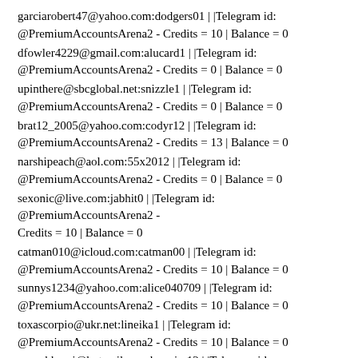garciarobert47@yahoo.com:dodgers01 | |Telegram id: @PremiumAccountsArena2 - Credits = 10 | Balance = 0
dfowler4229@gmail.com:alucard1 | |Telegram id: @PremiumAccountsArena2 - Credits = 0 | Balance = 0
upinthere@sbcglobal.net:snizzle1 | |Telegram id: @PremiumAccountsArena2 - Credits = 0 | Balance = 0
brat12_2005@yahoo.com:codyr12 | |Telegram id: @PremiumAccountsArena2 - Credits = 13 | Balance = 0
narshipeach@aol.com:55x2012 | |Telegram id: @PremiumAccountsArena2 - Credits = 0 | Balance = 0
sexonic@live.com:jabhit0 | |Telegram id: @PremiumAccountsArena2 - Credits = 10 | Balance = 0
catman010@icloud.com:catman00 | |Telegram id: @PremiumAccountsArena2 - Credits = 10 | Balance = 0
sunnys1234@yahoo.com:alice040709 | |Telegram id: @PremiumAccountsArena2 - Credits = 10 | Balance = 0
toxascorpio@ukr.net:lineika1 | |Telegram id: @PremiumAccountsArena2 - Credits = 10 | Balance = 0
uapashkussj@hotmail.com:bouvier12 | |Telegram id: